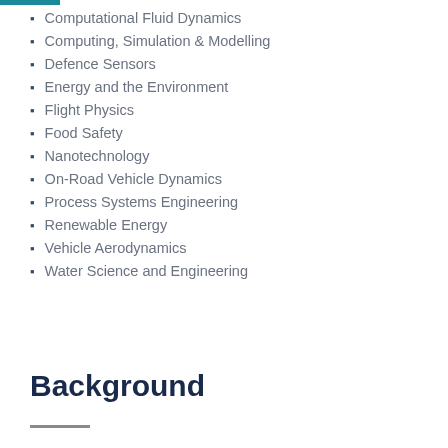Computational Fluid Dynamics
Computing, Simulation & Modelling
Defence Sensors
Energy and the Environment
Flight Physics
Food Safety
Nanotechnology
On-Road Vehicle Dynamics
Process Systems Engineering
Renewable Energy
Vehicle Aerodynamics
Water Science and Engineering
Background